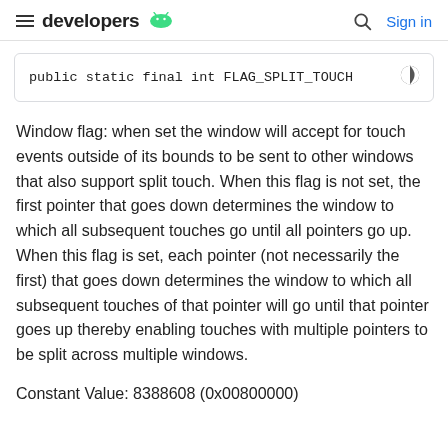developers [android logo] | Sign in
public static final int FLAG_SPLIT_TOUCH
Window flag: when set the window will accept for touch events outside of its bounds to be sent to other windows that also support split touch. When this flag is not set, the first pointer that goes down determines the window to which all subsequent touches go until all pointers go up. When this flag is set, each pointer (not necessarily the first) that goes down determines the window to which all subsequent touches of that pointer will go until that pointer goes up thereby enabling touches with multiple pointers to be split across multiple windows.
Constant Value: 8388608 (0x00800000)